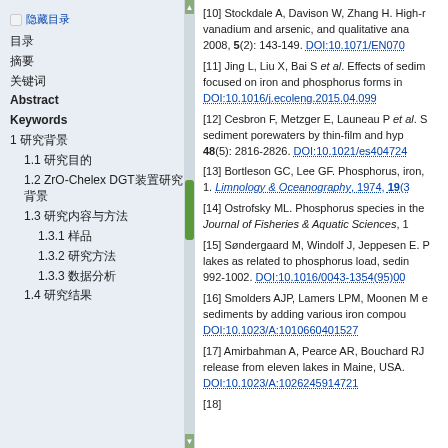[10] Stockdale A, Davison W, Zhang H. High-resolution visualization of the solute-transport mechanism in sediments: vanadium and arsenic, and qualitative analysis of the in situ binding of vanadium. 2008, 5(2): 143-149. DOI:10.1071/EN070...
[11] Jing L, Liu X, Bai S et al. Effects of sediment... focused on iron and phosphorus forms in... DOI:10.1016/j.ecoleng.2015.04.099
[12] Cesbron F, Metzger E, Launeau P et al. S... sediment porewaters by thin-film and hype... 48(5): 2816-2826. DOI:10.1021/es4047240
[13] Bortleson GC, Lee GF. Phosphorus, iron,... 1. Limnology & Oceanography, 1974, 19(3)...
[14] Ostrofsky ML. Phosphorus species in the... Journal of Fisheries & Aquatic Sciences, 1...
[15] Søndergaard M, Windolf J, Jeppesen E. P... lakes as related to phosphorus load, sedim... 992-1002. DOI:10.1016/0043-1354(95)00...
[16] Smolders AJP, Lamers LPM, Moonen M et al. sediments by adding various iron compounds. DOI:10.1023/A:1010660401527
[17] Amirbahman A, Pearce AR, Bouchard RJ... release from eleven lakes in Maine, USA.... DOI:10.1023/A:1026245914721
[18] ...
☐ 隐藏目录
目录
摘要
关键词
Abstract
Keywords
1 研究背景
1.1 研究目的
1.2 ZrO-Chelex DGT装置研究 背景
1.3 研究内容与方法
1.3.1 样品
1.3.2 研究方法
1.3.3 数据分析
1.4 研究结果